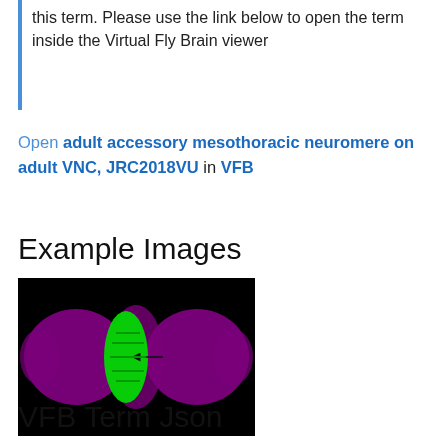this term. Please use the link below to open the term inside the Virtual Fly Brain viewer
Open adult accessory mesothoracic neuromere on adult VNC, JRC2018VU in VFB
Example Images
[Figure (photo): Fluorescence microscopy image of a fly VNC showing a highlighted region in green (adult accessory mesothoracic neuromere) on a magenta background of the VNC structure, black background.]
VFB Term Json